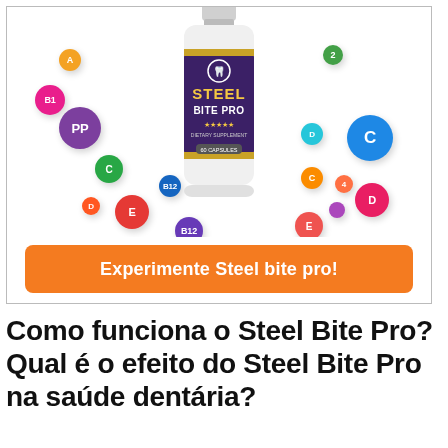[Figure (illustration): Steel Bite Pro supplement bottle surrounded by colorful vitamin balls labeled PP, C, E, D, B12, and others on a white background inside a bordered box, with an orange CTA button 'Experimente Steel bite pro!']
Como funciona o Steel Bite Pro? Qual é o efeito do Steel Bite Pro na saúde dentária?